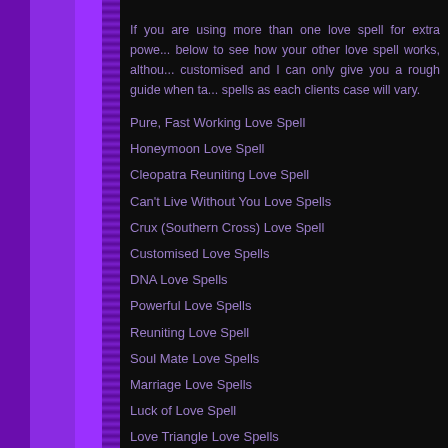If you are using more than one love spell for extra power, below to see how your other love spell works, although customised and I can only give you a rough guide when talking spells as each clients case will vary.
Pure, Fast Working Love Spell
Honeymoon Love Spell
Cleopatra Reuniting Love Spell
Can't Live Without You Love Spells
Crux (Southern Cross) Love Spell
Customised Love Spells
DNA Love Spells
Powerful Love Spells
Reuniting Love Spell
Soul Mate Love Spells
Marriage Love Spells
Luck of Love Spell
Love Triangle Love Spells